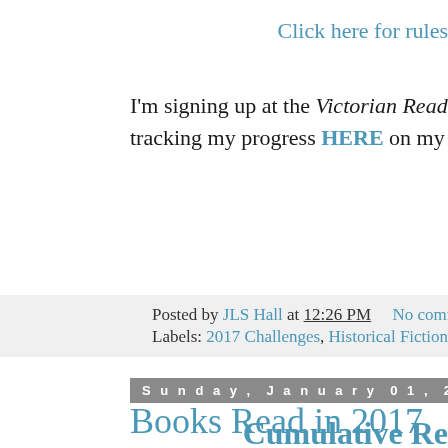Click here for rules
I'm signing up at the Victorian Reader level (5... tracking my progress HERE on my Challenge...
Posted by JLS Hall at 12:26 PM    No comments:
Labels: 2017 Challenges, Historical Fiction Challenge
Sunday, January 01, 2017
Books Read in 2017
Cumulative Re...